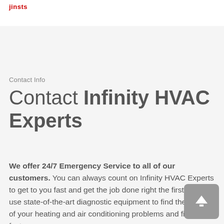jinsts
Contact Info
Contact Infinity HVAC Experts
We offer 24/7 Emergency Service to all of our customers. You can always count on Infinity HVAC Experts to get to you fast and get the job done right the first time. We use state-of-the-art diagnostic equipment to find the source of your heating and air conditioning problems and fix them fast.